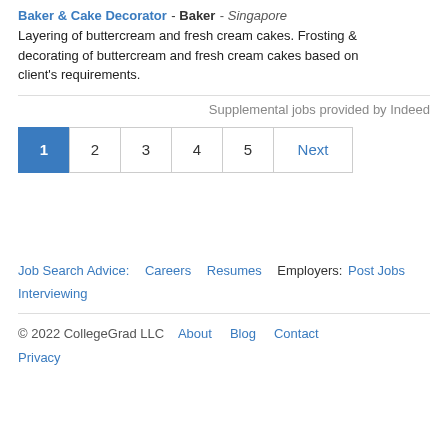Baker & Cake Decorator - Baker - Singapore
Layering of buttercream and fresh cream cakes. Frosting & decorating of buttercream and fresh cream cakes based on client's requirements.
Supplemental jobs provided by Indeed
1 2 3 4 5 Next (pagination)
Job Search Advice: Careers Resumes Employers: Post Jobs Interviewing
© 2022 CollegeGrad LLC About Blog Contact Privacy